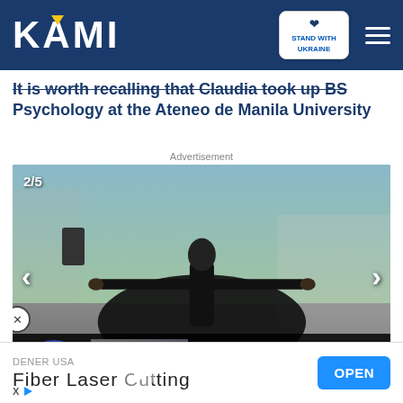KAMI | STAND WITH UKRAINE
It is worth recalling that Claudia took up BS Psychology at the Ateneo de Manila University
Advertisement
[Figure (photo): Slideshow image 2/5 showing a person in a black coat with arms outstretched, outdoors. Navigation arrows on left and right. Bottom strip shows a blue circle badge reading HE WAS SCARED OF HER, a video thumbnail with play button, text reading The Matrix, and a blue circular next arrow button.]
[Figure (screenshot): Advertisement bar at bottom: DENER USA brand, Fiber Laser Cutting product, with OPEN button in blue.]